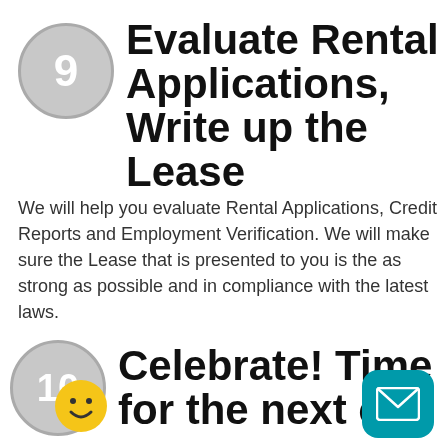Evaluate Rental Applications, Write up the Lease
We will help you evaluate Rental Applications, Credit Reports and Employment Verification. We will make sure the Lease that is presented to you is the as strong as possible and in compliance with the latest laws.
Celebrate! Time for the next one
[Figure (illustration): Yellow smiley face emoji icon]
[Figure (illustration): Teal rounded square with white envelope/mail icon]